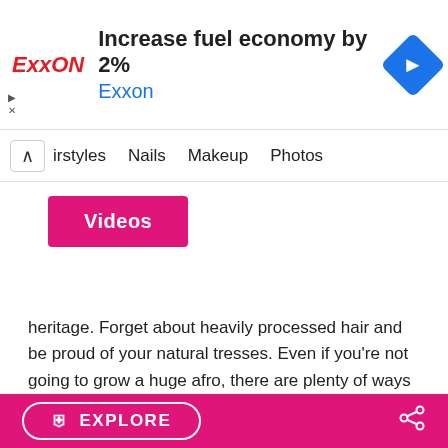[Figure (screenshot): Exxon advertisement banner: Exxon logo in red italic, headline 'Increase fuel economy by 2%', subtext 'Exxon' in blue, blue diamond arrow icon on right]
Hairstyles  Nails  Makeup  Photos
[Figure (screenshot): Pink 'Videos' button]
heritage. Forget about heavily processed hair and be proud of your natural tresses. Even if you're not going to grow a huge afro, there are plenty of ways to style your hair in order to look and feel great.
4. You'll Enjoy Hairstyle Versatility
Relaxed and processed hair has plenty of limitations, so one of the most important reasons to go natural is the fact that you'll be able to wear your hair in more ways. Change your looks on a whim and enjoy the freedom that comes with keeping your hair natural and choosing from a lot more available hairstyles.
EXPLORE